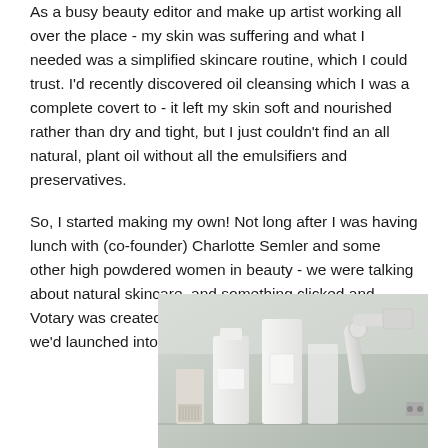As a busy beauty editor and make up artist working all over the place - my skin was suffering and what I needed was a simplified skincare routine, which I could trust. I'd recently discovered oil cleansing which I was a complete covert to - it left my skin soft and nourished rather than dry and tight, but I just couldn't find an all natural, plant oil without all the emulsifiers and preservatives.
So, I started making my own! Not long after I was having lunch with (co-founder) Charlotte Semler and some other high powdered women in beauty - we were talking about natural skincare, and something clicked and Votary was created almost over night. Within 11 months we'd launched into Liberty - it was all very fast!
[Figure (photo): Photo of white skincare product bottles and beauty tools arranged on a shelf, with a robotic or mechanical arm device visible on the right side. The image has a light, airy, grey-white tonal palette.]